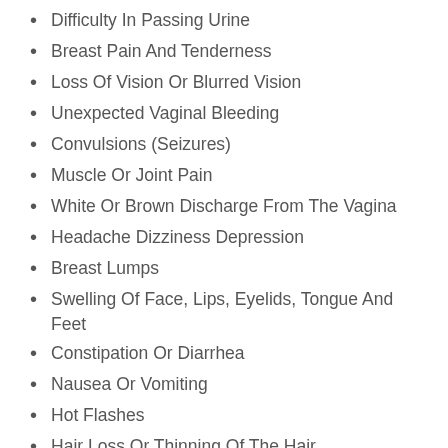Difficulty In Passing Urine
Breast Pain And Tenderness
Loss Of Vision Or Blurred Vision
Unexpected Vaginal Bleeding
Convulsions (Seizures)
Muscle Or Joint Pain
White Or Brown Discharge From The Vagina
Headache Dizziness Depression
Breast Lumps
Swelling Of Face, Lips, Eyelids, Tongue And Feet
Constipation Or Diarrhea
Nausea Or Vomiting
Hot Flashes
Hair Loss Or Thinning Of The Hair
It is good to study the side effects of Susten 200